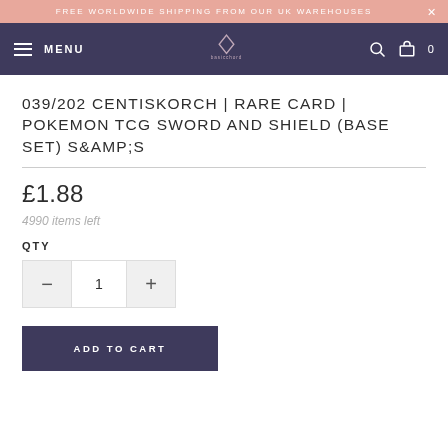FREE WORLDWIDE SHIPPING FROM OUR UK WAREHOUSES
[Figure (screenshot): Navigation bar with hamburger menu, MENU text, diamond logo, search icon, cart icon and 0 count]
039/202 CENTISKORCH | RARE CARD | POKEMON TCG SWORD AND SHIELD (BASE SET) S&AMP;S
£1.88
4990 items left
QTY
1
ADD TO CART